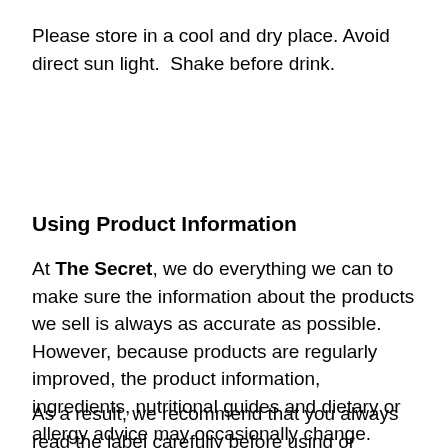Please store in a cool and dry place. Avoid direct sun light.  Shake before drink.
Using Product Information
At The Secret, we do everything we can to make sure the information about the products we sell is always as accurate as possible. However, because products are regularly improved, the product information, ingredients, nutritional guides and dietary or allergy advice may occasionally change.
As a result, we recommend that you always read the label carefully before using or consuming any product. Please also note that the before consuming